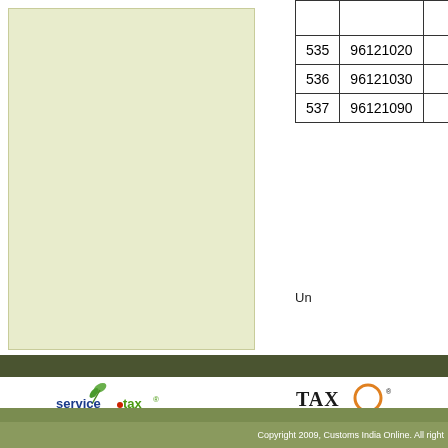[Figure (other): Light green/beige rectangular panel on the left side]
|  |  |  |
| --- | --- | --- |
|  |  |  |
| 535 | 96121020 |  |
| 536 | 96121030 |  |
| 537 | 96121090 |  |
Un
[Figure (logo): Service Tax Online logo with green leaf design and text 'servicetax online.com']
www.servicetaxonline.com
[Figure (logo): TaxOLegal logo with orange circle and serif text]
www.taxolegal.com
Copyright 2009, Customs India Online. All right